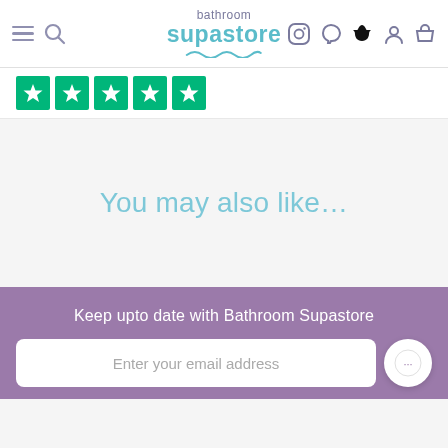bathroom supastore
[Figure (logo): Bathroom Supastore logo with social media icons (Instagram, Facebook, Pinterest), hamburger menu, search icon, user icon, cart icon]
[Figure (other): Trustpilot 5-star rating with green star icons]
You may also like…
Keep upto date with Bathroom Supastore
Enter your email address